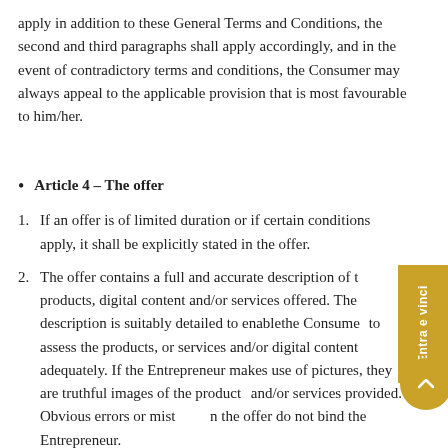apply in addition to these General Terms and Conditions, the second and third paragraphs shall apply accordingly, and in the event of contradictory terms and conditions, the Consumer may always appeal to the applicable provision that is most favourable to him/her.
Article 4 – The offer
1. If an offer is of limited duration or if certain conditions apply, it shall be explicitly stated in the offer.
2. The offer contains a full and accurate description of the products, digital content and/or services offered. The description is suitably detailed to enablethe Consumer to assess the products, or services and/or digital content adequately. If the Entrepreneur makes use of pictures, they are truthful images of the products and/or services provided. Obvious errors or mistakes in the offer do not bind the Entrepreneur.